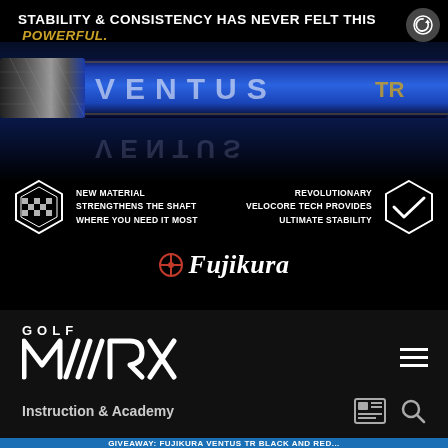STABILITY & CONSISTENCY HAS NEVER FELT THIS POWERFUL.
[Figure (photo): Fujikura VENTUS TR golf shaft closeup, blue carbon fiber shaft with VENTUS TR text in gold, reflected below on black background. Features two hexagonal icons with text: left says NEW MATERIAL STRENGTHENS THE SHAFT WHERE YOU NEED IT MOST, right says REVOLUTIONARY VELOCORE TECH PROVIDES ULTIMATE STABILITY. Fujikura logo centered below.]
[Figure (logo): GolfWRX logo in white on dark background]
Instruction & Academy
GIVEAWAY: Fujikura VENTUS TR Black and Red...